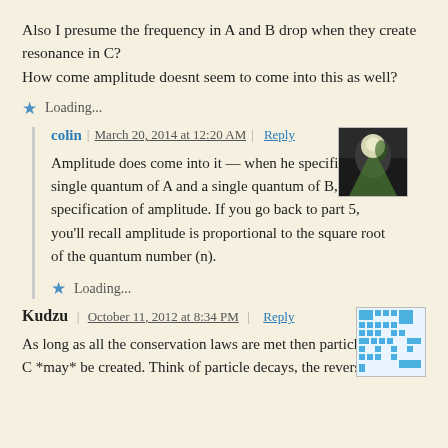Also I presume the frequency in A and B drop when they create resonance in C?
How come amplitude doesnt seem to come into this as well?
Loading...
colin | March 20, 2014 at 12:20 AM | Reply
Amplitude does come into it — when he specifies a single quantum of A and a single quantum of B, that's a specification of amplitude. If you go back to part 5, you'll recall amplitude is proportional to the square root of the quantum number (n).
Loading...
Kudzu | October 11, 2012 at 8:34 PM | Reply
As long as all the conservation laws are met then particle C *may* be created. Think of particle decays, the reversed